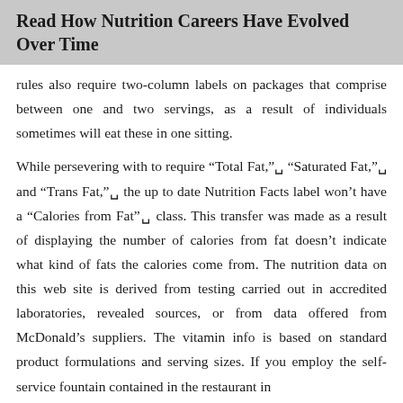Read How Nutrition Careers Have Evolved Over Time
rules also require two-column labels on packages that comprise between one and two servings, as a result of individuals sometimes will eat these in one sitting.
While persevering with to require “Total Fat,”␣ “Saturated Fat,”␣ and “Trans Fat,”␣ the up to date Nutrition Facts label won’t have a “Calories from Fat”␣ class. This transfer was made as a result of displaying the number of calories from fat doesn’t indicate what kind of fats the calories come from. The nutrition data on this web site is derived from testing carried out in accredited laboratories, revealed sources, or from data offered from McDonald’s suppliers. The vitamin info is based on standard product formulations and serving sizes. If you employ the self-service fountain contained in the restaurant in